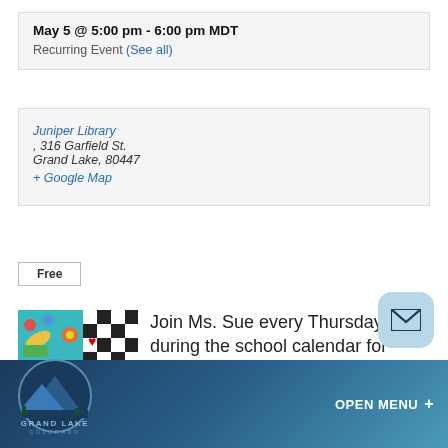May 5 @ 5:00 pm - 6:00 pm MDT
Recurring Event (See all)
Juniper Library, 316 Garfield St. Grand Lake, 80447 + Google Map
Free
[Figure (illustration): Afterschool Club flyer for Juniper Library showing colorful game/craft imagery, text listing crafts, games, movies, food; Grand Lake Colorado logo at bottom]
Join Ms. Sue every Thursday during the school calendar for afterschool fun. Free pizza, crafts, games, movies, Makerspace activities, Wii
GRAND LAKE COLORADO   OPEN MENU +